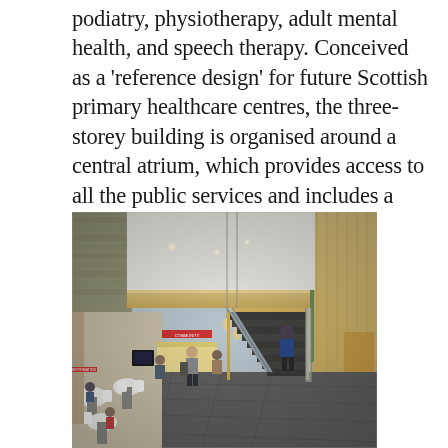podiatry, physiotherapy, adult mental health, and speech therapy. Conceived as a ‘reference design’ for future Scottish primary healthcare centres, the three-storey building is organised around a central atrium, which provides access to all the public services and includes a community cafe.
[Figure (photo): Interior photograph of a modern healthcare centre atrium. The three-storey space features a central staircase with dark treads and glass/metal railings, light wood panelling on the upper levels, pendant lighting, a reception/cafe area with white chairs and tables to the left, people walking through the space, large windows, and signage including 'INFU...' on the right side.]